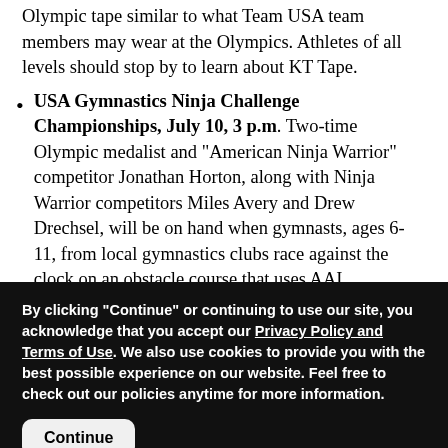Olympic tape similar to what Team USA team members may wear at the Olympics. Athletes of all levels should stop by to learn about KT Tape.
USA Gymnastics Ninja Challenge Championships, July 10, 3 p.m. Two-time Olympic medalist and "American Ninja Warrior" competitor Jonathan Horton, along with Ninja Warrior competitors Miles Avery and Drew Drechsel, will be on hand when gymnasts, ages 6-11, from local gymnastics clubs race against the clock on an obstacle course that uses AAI gymnastics equipment. Fans can watch and cheer on these budding Ninjas in the finals, when the winners win
By clicking "Continue" or continuing to use our site, you acknowledge that you accept our Privacy Policy and Terms of Use. We also use cookies to provide you with the best possible experience on our website. Feel free to check out our policies anytime for more information.
Continue